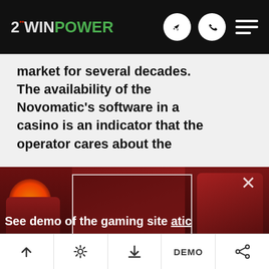2WINPOWER — navigation header with logo, telegram icon, phone icon, hamburger menu
market for several decades. The availability of the Novomatic's software in a casino is an indicator that the operator cares about the
[Figure (screenshot): Promotional popup overlay on a dark red background showing a fantasy female character with fire on the left, a pirate character on the right, a white-bordered placeholder image box in the center, a close (X) button, 'See demo of the gaming site' text with 'atic' shown as underlined partial text, and a red 'GO TO DEMO' button. Partially visible text fragments from the article appear through the popup.]
Bottom navigation bar with: up arrow, settings/wrench icon, download icon, DEMO label, share icon